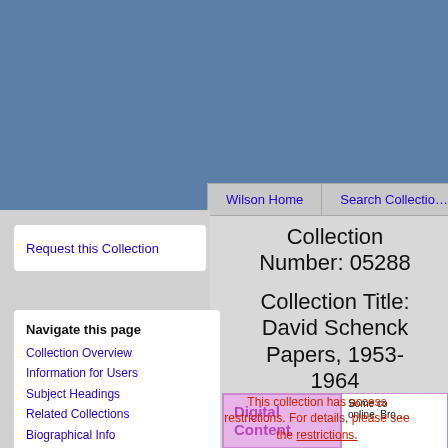Wilson Home | Search Collections
Request this Collection
Navigate this page
Collection Overview
Information for Users
Subject Headings
Related Collections
Biographical Info
Scope and Content
Contents List
[expand all sections ▼]
[collapse all sections ▶]
Collection Number: 05288
Collection Title: David Schenck Papers, 1953-1964
Digital Content
This collection has access restrictions. For details, please see the restrictions.